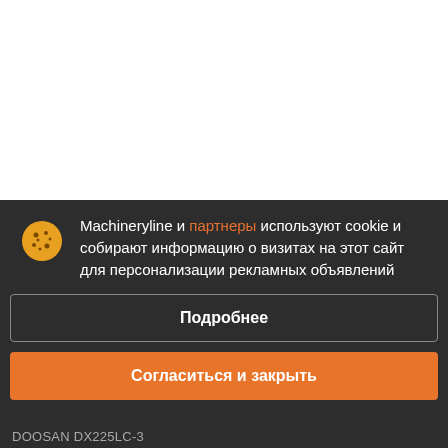[Figure (screenshot): White background area representing top portion of webpage]
Machineryline и партнеры используют cookie и собирают информацию о визитах на этот сайт для персонализации рекламных объявлений
Подробнее
Согласиться и закрыть
DOOSAN DX225LC-3